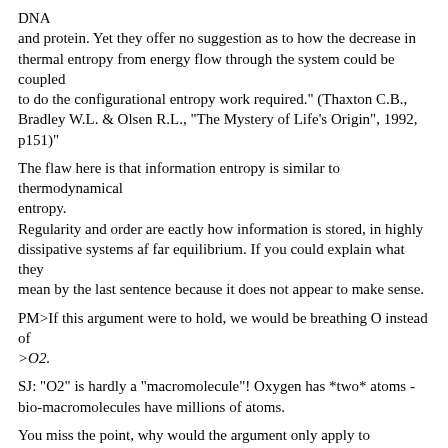DNA
and protein. Yet they offer no suggestion as to how the decrease in thermal entropy from energy flow through the system could be coupled
to do the configurational entropy work required." (Thaxton C.B., Bradley W.L. & Olsen R.L., "The Mystery of Life's Origin", 1992, p151)"
The flaw here is that information entropy is similar to thermodynamical
entropy.
Regularity and order are eactly how information is stored, in highly
dissipative systems af far equilibrium. If you could explain what they
mean by the last sentence because it does not appear to make sense.
PM>If this argument were to hold, we would be breathing O instead of
>O2.
SJ: "O2" is hardly a "macromolecule"! Oxygen has *two* atoms - bio-macromolecules have millions of atoms.
You miss the point, why would the argument only apply to